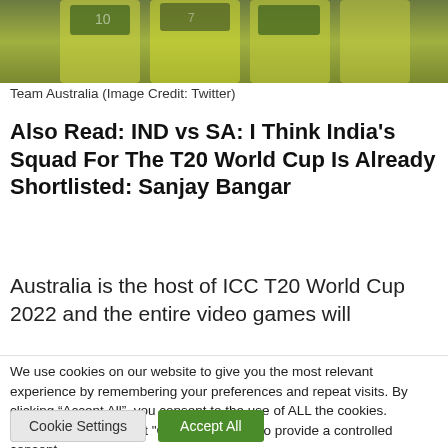[Figure (photo): Team Australia cricket players in yellow uniforms, cropped photo showing players standing together]
Team Australia (Image Credit: Twitter)
Also Read: IND vs SA: I Think India's Squad For The T20 World Cup Is Already Shortlisted: Sanjay Bangar
Australia is the host of ICC T20 World Cup 2022 and the entire video games will
We use cookies on our website to give you the most relevant experience by remembering your preferences and repeat visits. By clicking “Accept All”, you consent to the use of ALL the cookies. However, you may visit "Cookie Settings" to provide a controlled consent.